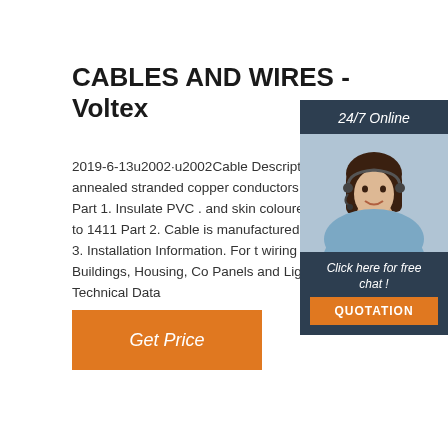CABLES AND WIRES - Voltex
2019-6-13u2002·u2002Cable Description. conductivity annealed stranded copper conductors to SANS 1411 Part 1. Insulate PVC . and skin coloured in plain colours to 1411 Part 2. Cable is manufactured to SAI 1507 Part 3. Installation Information. For t wiring of Industrial Buildings, Housing, Co Panels and Light Fittings. Technical Data
[Figure (photo): Customer service woman with headset, smiling, wearing light blue shirt. Overlaid chat widget with dark navy background, 24/7 Online label, 'Click here for free chat!' text, and orange QUOTATION button.]
Get Price